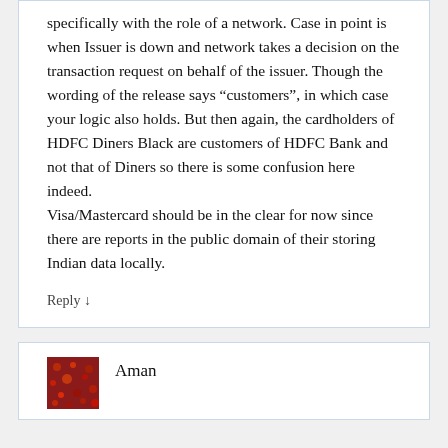specifically with the role of a network. Case in point is when Issuer is down and network takes a decision on the transaction request on behalf of the issuer. Though the wording of the release says “customers”, in which case your logic also holds. But then again, the cardholders of HDFC Diners Black are customers of HDFC Bank and not that of Diners so there is some confusion here indeed.
Visa/Mastercard should be in the clear for now since there are reports in the public domain of their storing Indian data locally.
Reply ↓
Aman